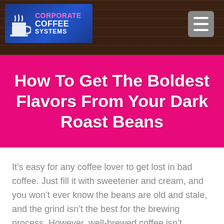[Figure (logo): Corporate Coffee Systems logo — blue rectangle with coffee cup icon and pink/white text on a dark wood-texture header bar with a grey hamburger menu button in the top right]
How To Get The Boldest Flavors From Your Dark Roast Beans
It’s easy for any coffee lover to get lost in bad coffee. Just fill it with sweetener and cream, and you won’t ever know the beans are old and stale, and the grind isn’t the best for the brewing process. However, well-brewed coffee isn’t usually bitter, it can even be sweet and flavorful enough to stand on its own without any additions. If you’re a dark roast